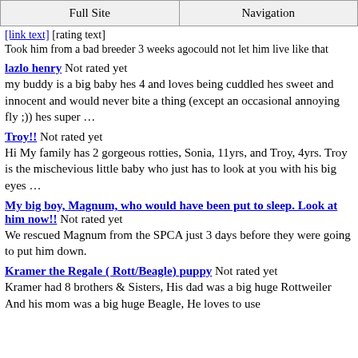Full Site | Navigation
Took him from a bad breeder 3 weeks agocould not let him live like that
lazlo henry Not rated yet
my buddy is a big baby hes 4 and loves being cuddled hes sweet and innocent and would never bite a thing (except an occasional annoying fly ;)) hes super …
Troy!! Not rated yet
Hi My family has 2 gorgeous rotties, Sonia, 11yrs, and Troy, 4yrs. Troy is the mischevious little baby who just has to look at you with his big eyes …
My big boy, Magnum, who would have been put to sleep. Look at him now!! Not rated yet
We rescued Magnum from the SPCA just 3 days before they were going to put him down.
Kramer the Regale ( Rott/Beagle) puppy Not rated yet
Kramer had 8 brothers & Sisters, His dad was a big huge Rottweiler And his mom was a big huge Beagle, He loves to use